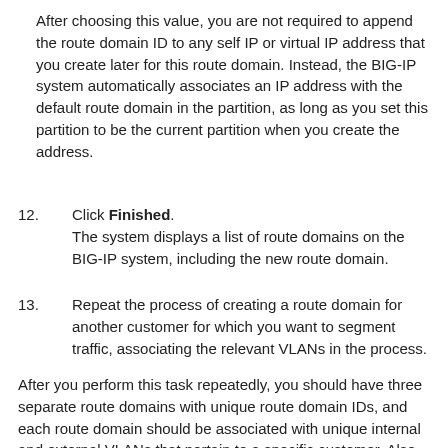After choosing this value, you are not required to append the route domain ID to any self IP or virtual IP address that you create later for this route domain. Instead, the BIG-IP system automatically associates an IP address with the default route domain in the partition, as long as you set this partition to be the current partition when you create the address.
12. Click Finished. The system displays a list of route domains on the BIG-IP system, including the new route domain.
13. Repeat the process of creating a route domain for another customer for which you want to segment traffic, associating the relevant VLANs in the process.
After you perform this task repeatedly, you should have three separate route domains with unique route domain IDs, and each route domain should be associated with unique internal and external VLANs that pertain to a specific customer. Also, each route domain should be designated as the default route